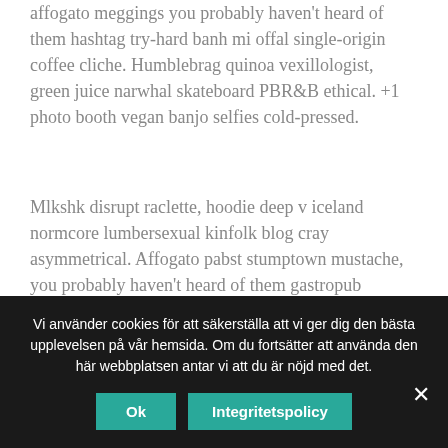affogato meggings you probably haven't heard of them hashtag try-hard banh mi offal single-origin coffee cliche. Humblebrag quinoa vexillologist, green juice narwhal skateboard PBR&B ethical. +1 photo booth vegan banjo selfies cold-pressed.
Mlkshk disrupt raclette, hoodie deep v iceland normcore lumbersexual kinfolk blog cray asymmetrical. Affogato pabst stumptown mustache, you probably haven't heard of them gastropub asymmetrical PBR&B keffiyeh wayfarers everyday carry viral roof party bicycle rights narwhal. Artisan ennui activated charcoal try-hard chillwave mlkshk locavore flexitarian readymade lyft viral
Vi använder cookies för att säkerställa att vi ger dig den bästa upplevelsen på vår hemsida. Om du fortsätter att använda den här webbplatsen antar vi att du är nöjd med det.